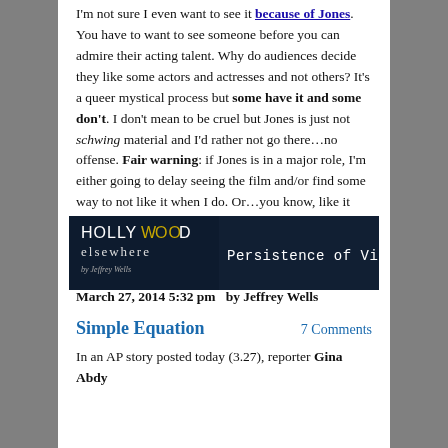I'm not sure I even want to see it because of Jones. You have to want to see someone before you can admire their acting talent. Why do audiences decide they like some actors and actresses and not others? It's a queer mystical process but some have it and some don't. I don't mean to be cruel but Jones is just not schwing material and I'd rather not go there…no offense. Fair warning: if Jones is in a major role, I'm either going to delay seeing the film and/or find some way to not like it when I do. Or…you know, like it less than I would if Jones wasn't in it. I'm sorry but that's my decision.
(More…)
March 27, 2014 5:32 pm   by Jeffrey Wells
[Figure (logo): Hollywood Elsewhere by Jeffrey Wells — Persistence of Vision banner logo on dark navy background]
Simple Equation
7 Comments
In an AP story posted today (3.27), reporter Gina Abdy